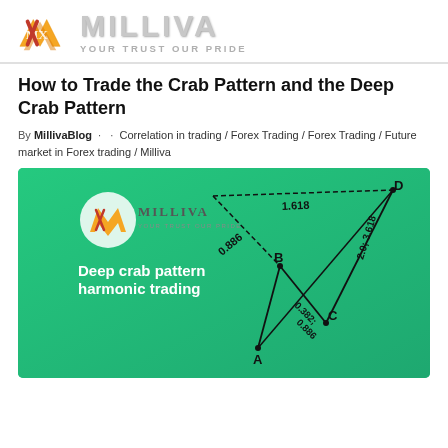[Figure (logo): Milliva logo with orange/yellow MX icon and gray text MILLIVA with tagline YOUR TRUST OUR PRIDE]
How to Trade the Crab Pattern and the Deep Crab Pattern
By MillivaBlog · · Correlation in trading / Forex Trading / Forex Trading / Future market in Forex trading / Milliva
[Figure (illustration): Deep crab pattern harmonic trading diagram on green background. Shows points labeled X (top left), B (middle), A (bottom middle), C (bottom right), D (top right) connected by lines. Labels: 0.886 on XA leg, 1.618 on XD leg, 0.886 on AB leg, 0.382; 0.886 on BC leg, 2.0; 3.618 on CD leg. Milliva logo in upper left of diagram.]